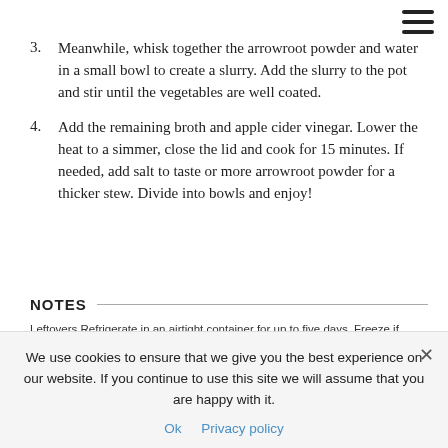[Figure (other): Hamburger menu icon (three horizontal lines) in top-right corner]
3. Meanwhile, whisk together the arrowroot powder and water in a small bowl to create a slurry. Add the slurry to the pot and stir until the vegetables are well coated.
4. Add the remaining broth and apple cider vinegar. Lower the heat to a simmer, close the lid and cook for 15 minutes. If needed, add salt to taste or more arrowroot powder for a thicker stew. Divide into bowls and enjoy!
NOTES
Leftovers Refrigerate in an airtight container for up to five days. Freeze if longer. Serving Size One serving equals approximately 1 1/2 cups. More Flavor Sauté the vegetables in oil instead of broth. Add more spices of your choice. Additional Toppings Add lentils, chickpeas, or already cooked meat for more protein. Serve with brown rice, mashed potatoes, mashed cauliflower, quinoa, or barley. Garnish with cilantro or
We use cookies to ensure that we give you the best experience on our website. If you continue to use this site we will assume that you are happy with it.
Ok   Privacy policy